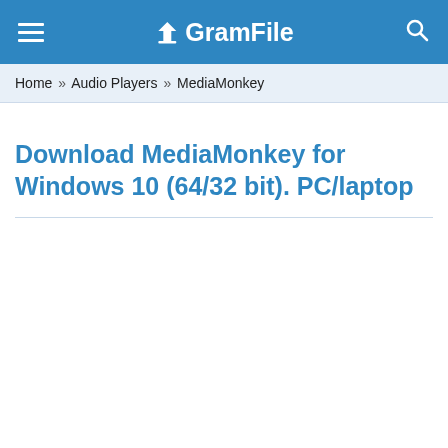GramFile
Home » Audio Players » MediaMonkey
Download MediaMonkey for Windows 10 (64/32 bit). PC/laptop